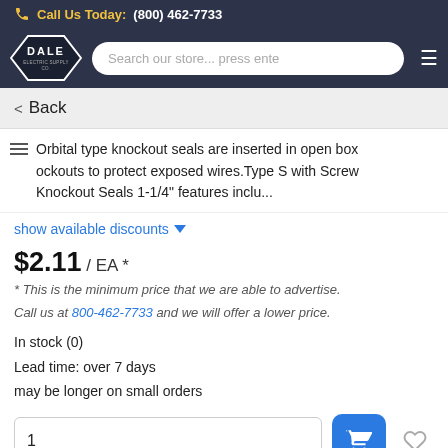Call Us Today: (800) 462-7733
[Figure (logo): Dale Electric Supply Co. logo — diamond/hexagon shaped badge with white text on dark background]
Search our store... press ente
< Back
Orbital type knockout seals are inserted in open box knockouts to protect exposed wires. Type S with Screw Knockout Seals 1-1/4" features inclu...
show available discounts ▼
$2.11 / EA *
* This is the minimum price that we are able to advertise.
Call us at 800-462-7733 and we will offer a lower price.
In stock (0)
Lead time: over 7 days
may be longer on small orders
NEED HELP?